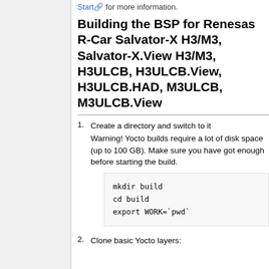Start for more information.
Building the BSP for Renesas R-Car Salvator-X H3/M3, Salvator-X.View H3/M3, H3ULCB, H3ULCB.View, H3ULCB.HAD, M3ULCB, M3ULCB.View
1. Create a directory and switch to it
Warning! Yocto builds require a lot of disk space (up to 100 GB). Make sure you have got enough before starting the build.
mkdir build
cd build
export WORK=`pwd`
2. Clone basic Yocto layers: